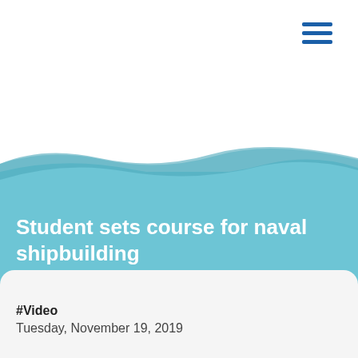[Figure (illustration): Light blue wave/banner graphic covering the upper two-thirds of the page, with a darker blue wave accent at the transition point, creating a wave-shaped banner background.]
Student sets course for naval shipbuilding
#Video
Tuesday, November 19, 2019